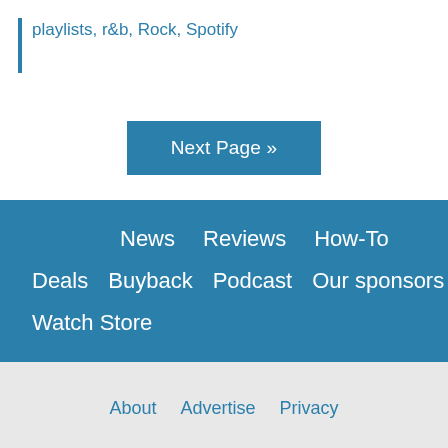playlists, r&b, Rock, Spotify
Next Page »
News   Reviews   How-To   Deals   Buyback   Podcast   Our sponsors   Watch Store
About   Advertise   Privacy